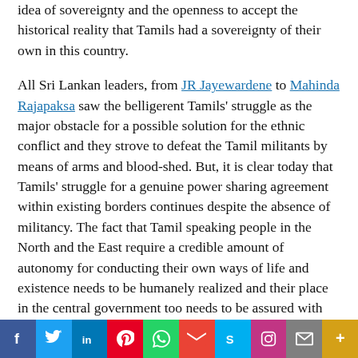idea of sovereignty and the openness to accept the historical reality that Tamils had a sovereignty of their own in this country.
All Sri Lankan leaders, from JR Jayewardene to Mahinda Rajapaksa saw the belligerent Tamils' struggle as the major obstacle for a possible solution for the ethnic conflict and they strove to defeat the Tamil militants by means of arms and blood-shed. But, it is clear today that Tamils' struggle for a genuine power sharing agreement within existing borders continues despite the absence of militancy. The fact that Tamil speaking people in the North and the East require a credible amount of autonomy for conducting their own ways of life and existence needs to be humanely realized and their place in the central government too needs to be assured with equal political rights. It is thus necessary to go beyond the traditional concept of ‘unitary sovereignty’ and perhaps create
[Figure (infographic): Social media sharing bar with buttons for Facebook, Twitter, LinkedIn, Pinterest, WhatsApp, Gmail, Skype, Instagram, Email, and More]